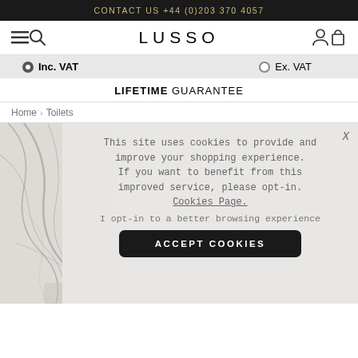CONTACT US +44 (0)203 370 4057
[Figure (screenshot): Navigation bar with hamburger menu icon, search icon, LUSSO logo, account icon, and cart icon]
Inc. VAT   Ex. VAT
LIFETIME GUARANTEE
Home > Toilets
[Figure (photo): Marble texture product image on the left side]
This site uses cookies to provide and improve your shopping experience. If you want to benefit from this improved service, please opt-in. Cookies Page. I opt-in to a better browsing experience
ACCEPT COOKIES